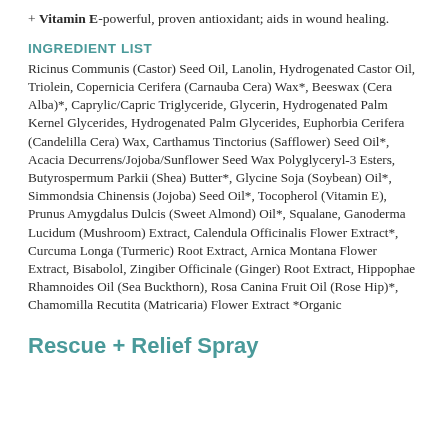+ Vitamin E-powerful, proven antioxidant; aids in wound healing.
INGREDIENT LIST
Ricinus Communis (Castor) Seed Oil, Lanolin, Hydrogenated Castor Oil, Triolein, Copernicia Cerifera (Carnauba Cera) Wax*, Beeswax (Cera Alba)*, Caprylic/Capric Triglyceride, Glycerin, Hydrogenated Palm Kernel Glycerides, Hydrogenated Palm Glycerides, Euphorbia Cerifera (Candelilla Cera) Wax, Carthamus Tinctorius (Safflower) Seed Oil*, Acacia Decurrens/Jojoba/Sunflower Seed Wax Polyglyceryl-3 Esters, Butyrospermum Parkii (Shea) Butter*, Glycine Soja (Soybean) Oil*, Simmondsia Chinensis (Jojoba) Seed Oil*, Tocopherol (Vitamin E), Prunus Amygdalus Dulcis (Sweet Almond) Oil*, Squalane, Ganoderma Lucidum (Mushroom) Extract, Calendula Officinalis Flower Extract*, Curcuma Longa (Turmeric) Root Extract, Arnica Montana Flower Extract, Bisabolol, Zingiber Officinale (Ginger) Root Extract, Hippophae Rhamnoides Oil (Sea Buckthorn), Rosa Canina Fruit Oil (Rose Hip)*, Chamomilla Recutita (Matricaria) Flower Extract *Organic
Rescue + Relief Spray